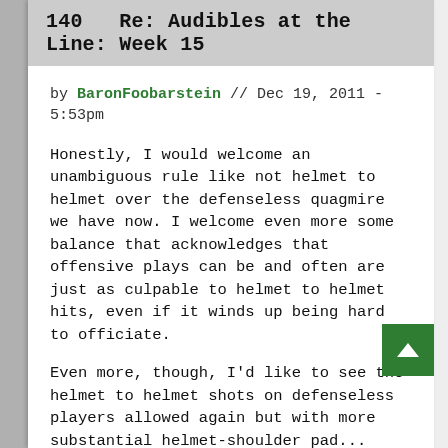140   Re: Audibles at the Line: Week 15
by BaronFoobarstein // Dec 19, 2011 - 5:53pm
Honestly, I would welcome an unambiguous rule like not helmet to helmet over the defenseless quagmire we have now. I welcome even more some balance that acknowledges that offensive plays can be and often are just as culpable to helmet to helmet hits, even if it winds up being hard to officiate.
Even more, though, I'd like to see the helmet to helmet shots on defenseless players allowed again but with more substantial helmet-shoulder pad...